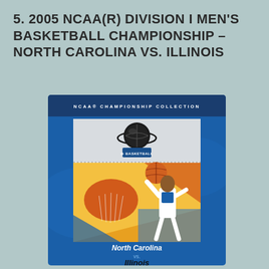5. 2005 NCAA(R) DIVISION I MEN'S BASKETBALL CHAMPIONSHIP – NORTH CAROLINA VS. ILLINOIS
[Figure (illustration): NCAA Championship Collection product card/ticket showing a basketball player dunking, with 'North Carolina vs. Illinois' text at the bottom, set against a blue background with the NCAA Basketball logo at top.]